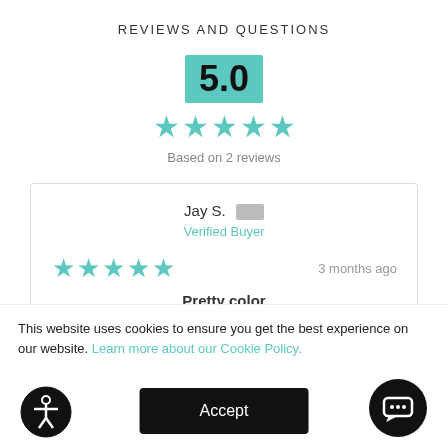REVIEWS AND QUESTIONS
5.0
Based on 2 reviews
Jay S.  Verified Buyer
3 months ago
Pretty color
This website uses cookies to ensure you get the best experience on our website. Learn more about our Cookie Policy.
Accept